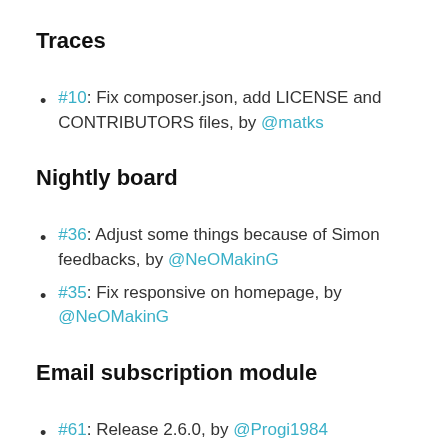Traces
#10: Fix composer.json, add LICENSE and CONTRIBUTORS files, by @matks
Nightly board
#36: Adjust some things because of Simon feedbacks, by @NeOMakinG
#35: Fix responsive on homepage, by @NeOMakinG
Email subscription module
#61: Release 2.6.0, by @Progi1984
#60: Merge branch master into dev, by